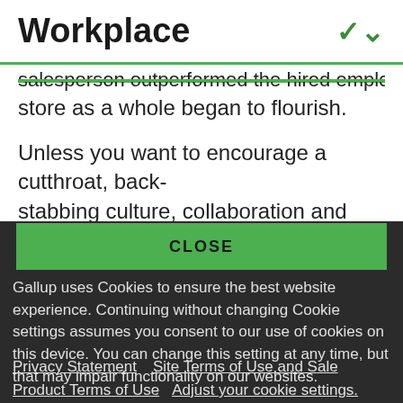Workplace
salesperson outperformed the hired employee, the store as a whole began to flourish.
Unless you want to encourage a cutthroat, back-stabbing culture, collaboration and helping others need to be included in performance evaluations
CLOSE
Gallup uses Cookies to ensure the best website experience. Continuing without changing Cookie settings assumes you consent to our use of cookies on this device. You can change this setting at any time, but that may impair functionality on our websites.
Privacy Statement   Site Terms of Use and Sale
Product Terms of Use   Adjust your cookie settings.